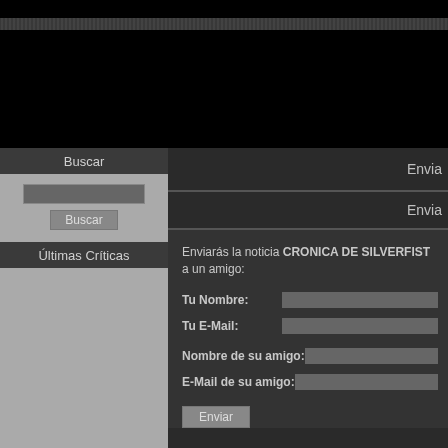Buscar
Últimas Críticas
Envia
Envia
Enviarás la noticia CRONICA DE SILVERFIST a un amigo:
Tu Nombre:
Tu E-Mail:
Nombre de su amigo:
E-Mail de su amigo:
Enviar